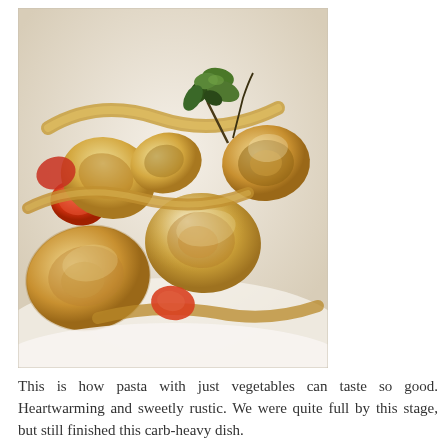[Figure (photo): Close-up photograph of orecchiette pasta with vegetables (tomatoes, zucchini) and fresh herb garnish in a white bowl.]
This is how pasta with just vegetables can taste so good. Heartwarming and sweetly rustic. We were quite full by this stage, but still finished this carb-heavy dish.